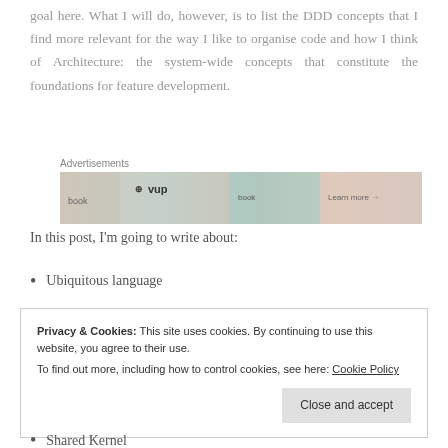goal here. What I will do, however, is to list the DDD concepts that I find more relevant for the way I like to organise code and how I think of Architecture: the system-wide concepts that constitute the foundations for feature development.
[Figure (other): Advertisements banner with WordPress and book advertisement images and 'Learn more' text]
In this post, I'm going to write about:
Ubiquitous language
Privacy & Cookies: This site uses cookies. By continuing to use this website, you agree to their use. To find out more, including how to control cookies, see here: Cookie Policy
Close and accept
Shared Kernel